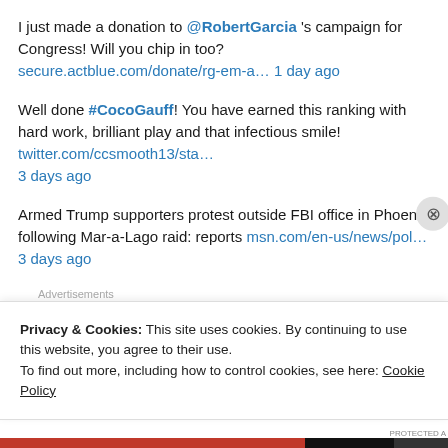I just made a donation to @RobertGarcia 's campaign for Congress! Will you chip in too? secure.actblue.com/donate/rg-em-a… 1 day ago
Well done #CocoGauff! You have earned this ranking with hard work, brilliant play and that infectious smile! twitter.com/ccsmooth13/sta… 3 days ago
Armed Trump supporters protest outside FBI office in Phoenix following Mar-a-Lago raid: reports msn.com/en-us/news/pol… 3 days ago
[Figure (screenshot): Advertisement banner: black background with white square icon and large number 2]
Privacy & Cookies: This site uses cookies. By continuing to use this website, you agree to their use. To find out more, including how to control cookies, see here: Cookie Policy